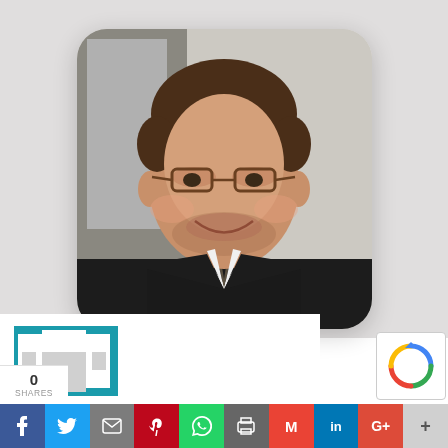[Figure (photo): Portrait photo of a man wearing glasses, a black suit jacket, white shirt and dark tie, smiling at the camera. Photo has rounded corners with white frame and subtle drop shadow, displayed against a light grey background.]
[Figure (logo): Partial teal/blue logo icon visible at bottom left area]
[Figure (other): reCAPTCHA badge in bottom right corner]
0 SHARES | f | Twitter | email | Pinterest | WhatsApp | print | Gmail | LinkedIn | G+ | +